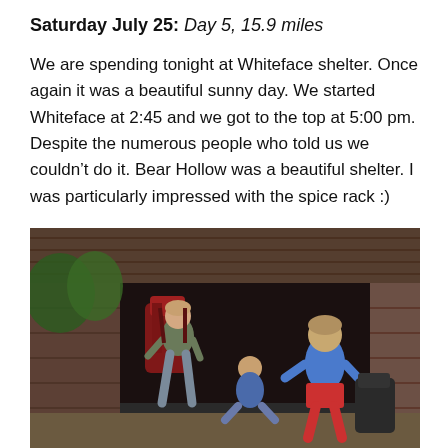Saturday July 25: Day 5, 15.9 miles
We are spending tonight at Whiteface shelter. Once again it was a beautiful sunny day. We started Whiteface at 2:45 and we got to the top at 5:00 pm. Despite the numerous people who told us we couldn't do it. Bear Hollow was a beautiful shelter. I was particularly impressed with the spice rack :)
[Figure (photo): Three people standing and sitting in front of a wooden trail shelter. One person on the left is wearing a large red backpack, one person in the middle is seated, and a taller person on the right is wearing a blue shirt and red shorts. Dense green trees are visible in the background.]